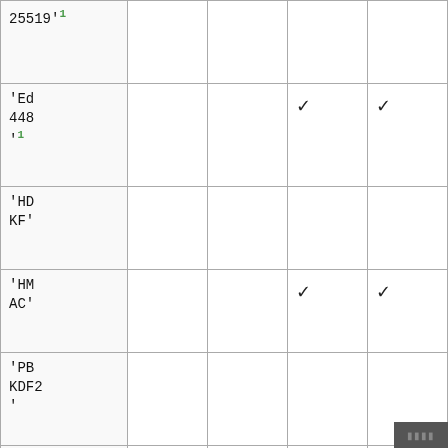| 25519'¹ |  |  |  |  |
| 'Ed 448'¹ |  |  | ✓ | ✓ |
| 'HDKF' |  |  |  |  |
| 'HMAC' |  |  | ✓ | ✓ |
| 'PBKDF2' |  |  |  |  |
| 'RSA-OAEP | ✓ | ✓ |  |  |